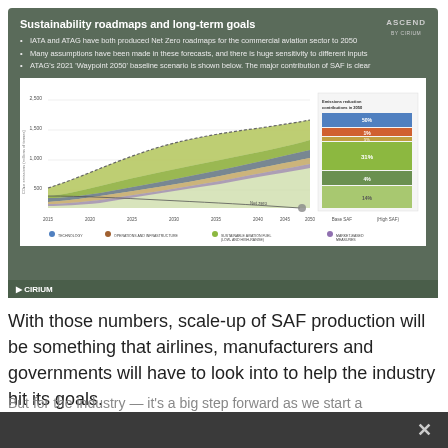Sustainability roadmaps and long-term goals
IATA and ATAG have both produced Net Zero roadmaps for the commercial aviation sector to 2050
Many assumptions have been made in these forecasts, and there is huge sensitivity to different inputs
ATAG's 2021 'Waypoint 2050' baseline scenario is shown below. The major contribution of SAF is clear
[Figure (area-chart): ATAG Waypoint 2050 area chart showing emissions reduction contributions including technology, operations, SAF (low and high ranges), and market-based measures from 2015 to 2050. Right side legend shows percentage contributions in 2050: ~50%, 1%, 31%, 4%, 14%.]
With those numbers, scale-up of SAF production will be something that airlines, manufacturers and governments will have to look into to help the industry hit its goals.
But for the industry — it's a big step forward as we start a